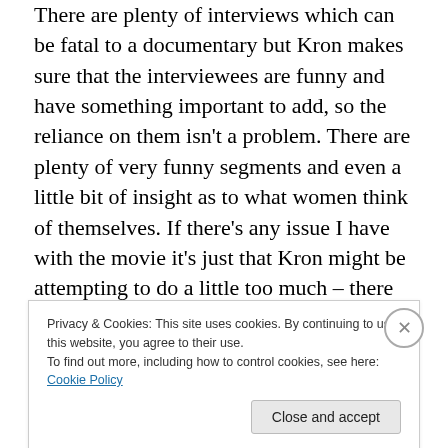There are plenty of interviews which can be fatal to a documentary but Kron makes sure that the interviewees are funny and have something important to add, so the reliance on them isn't a problem. There are plenty of very funny segments and even a little bit of insight as to what women think of themselves. If there's any issue I have with the movie it's just that Kron might be attempting to do a little too much – there are segments that don't really add much to the movie and detract from the focus. Otherwise this is quite an excellent documentary that takes a subject some might find innocuous and turns it into something
Privacy & Cookies: This site uses cookies. By continuing to use this website, you agree to their use. To find out more, including how to control cookies, see here: Cookie Policy